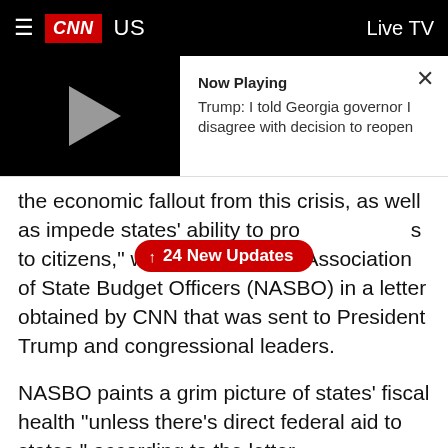CNN US | Live TV
[Figure (screenshot): CNN video player showing 'Now Playing: Trump: I told Georgia governor I disagree with decision to reopen']
the economic fallout from this crisis, as well as impede states' ability to provide services to citizens," wrote the National Association of State Budget Officers (NASBO) in a letter obtained by CNN that was sent to President Trump and congressional leaders.
NASBO paints a grim picture of states' fiscal health “unless there’s direct federal aid to states,” according to the letter.
The group says that "given the sudden, severe, and unprecedented nature of this crisis and its economic impacts, even with the use of rainy day funds, states